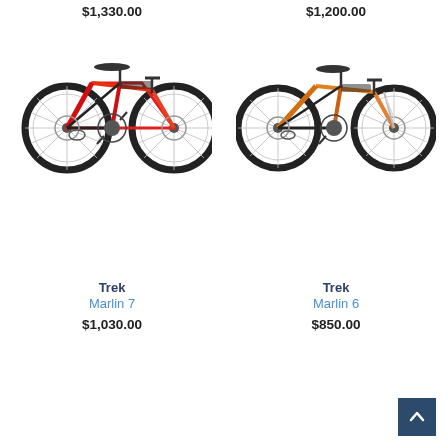$1,330.00
$1,200.00
[Figure (photo): Trek Marlin 7 mountain bike in red and orange color, side view]
[Figure (photo): Trek Marlin 6 mountain bike in orange color, side view]
Trek
Marlin 7
$1,030.00
Trek
Marlin 6
$850.00